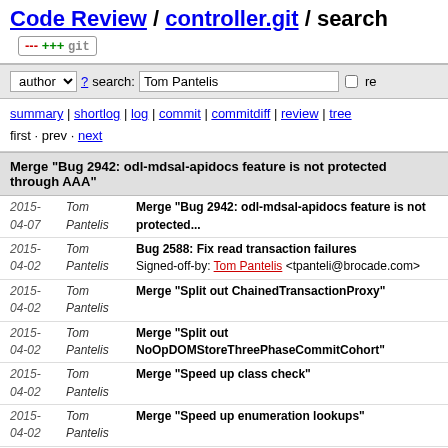Code Review / controller.git / search
author ? search: Tom Pantelis re
summary | shortlog | log | commit | commitdiff | review | tree
first · prev · next
Merge "Bug 2942: odl-mdsal-apidocs feature is not protected through AAA"
| Date | Author | Message |
| --- | --- | --- |
| 2015-
04-07 | Tom
Pantelis | Merge "Bug 2942: odl-mdsal-apidocs feature is not protected..." |
| 2015-
04-02 | Tom
Pantelis | Bug 2588: Fix read transaction failures
Signed-off-by: Tom Pantelis <tpanteli@brocade.com> |
| 2015-
04-02 | Tom
Pantelis | Merge "Split out ChainedTransactionProxy" |
| 2015-
04-02 | Tom
Pantelis | Merge "Split out NoOpDOMStoreThreePhaseCommitCohort" |
| 2015-
04-02 | Tom
Pantelis | Merge "Speed up class check" |
| 2015-
04-02 | Tom
Pantelis | Merge "Speed up enumeration lookups" |
| 2015-
04-02 | Tom
Pantelis | Merge "Add ForwardingDOMStoreThreePhaseCommitCohort" |
| 2015-
03-30 | Tom
Pantelis | Increase unit test coverage in SnapshotManager
Signed-off-by: Tom Pantelis <tpanteli@brocade.com> |